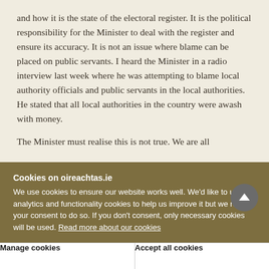and how it is the state of the electoral register. It is the political responsibility for the Minister to deal with the register and ensure its accuracy. It is not an issue where blame can be placed on public servants. I heard the Minister in a radio interview last week where he was attempting to blame local authority officials and public servants in the local authorities. He stated that all local authorities in the country were awash with money.
The Minister must realise this is not true. We are all
Cookies on oireachtas.ie
We use cookies to ensure our website works well. We'd like to use analytics and functionality cookies to help us improve it but we require your consent to do so. If you don't consent, only necessary cookies will be used. Read more about our cookies
Manage cookies
Accept all cookies